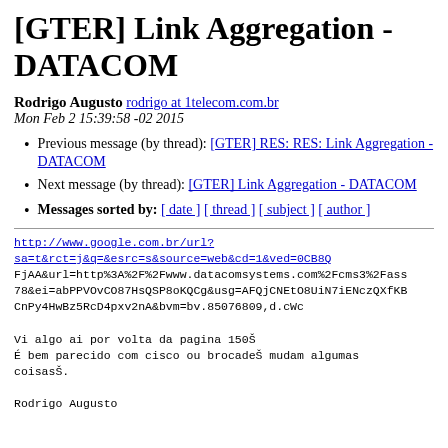[GTER] Link Aggregation - DATACOM
Rodrigo Augusto rodrigo at 1telecom.com.br
Mon Feb 2 15:39:58 -02 2015
Previous message (by thread): [GTER] RES: RES: Link Aggregation - DATACOM
Next message (by thread): [GTER] Link Aggregation - DATACOM
Messages sorted by: [ date ] [ thread ] [ subject ] [ author ]
http://www.google.com.br/url?sa=t&rct=j&q=&esrc=s&source=web&cd=1&ved=0CB8QFjAA&url=http%3A%2F%2Fwww.datacomsystems.com%2Fcms3%2Fass78&ei=abPPVOvCO87HsQSP8oKQCg&usg=AFQjCNEtO8UiN7iENczQXfKBCnPy4HwBz5RcD4pxv2nA&bvm=bv.85076809,d.cWc

Vi algo ai por volta da pagina 150Š
É bem parecido com cisco ou brocadeŠ mudam algumas coisasŠ.

Rodrigo Augusto